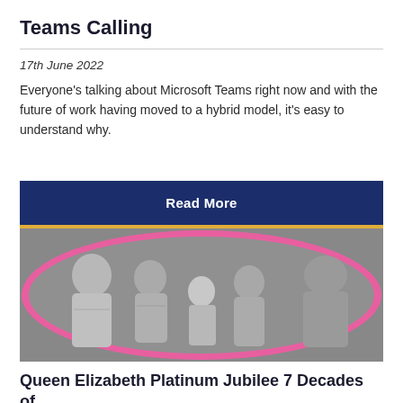Teams Calling
17th June 2022
Everyone’s talking about Microsoft Teams right now and with the future of work having moved to a hybrid model, it’s easy to understand why.
[Figure (other): Dark navy blue button with white bold text 'Read More']
[Figure (photo): Black and white group photo of the Royal Family, cropped in an oval shape with a pink border]
Queen Elizabeth Platinum Jubilee 7 Decades of Telecommunications